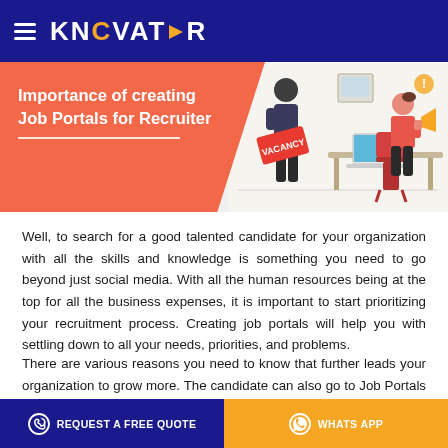KNCVATOR
[Figure (illustration): Banner with orange background on left reading 'Importance of creating Job Portals for Recruiter' and an illustration on the right showing two people in a job recruitment scenario with a vacancy sign and laptop]
Well, to search for a good talented candidate for your organization with all the skills and knowledge is something you need to go beyond just social media. With all the human resources being at the top for all the business expenses, it is important to start prioritizing your recruitment process. Creating job portals will help you with settling down to all your needs, priorities, and problems.
There are various reasons you need to know that further leads your organization to grow more. The candidate can also go to Job Portals India to find the job according to the degree and
REQUEST A FREE QUOTE    WHATS APP